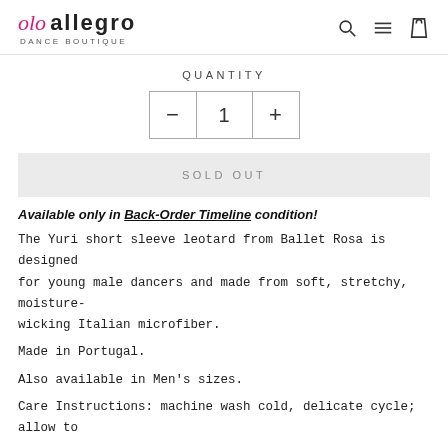Allegro Dance Boutique
QUANTITY
- 1 +
SOLD OUT
Available only in Back-Order Timeline condition!
The Yuri short sleeve leotard from Ballet Rosa is designed for young male dancers and made from soft, stretchy, moisture-wicking Italian microfiber.
Made in Portugal.
Also available in Men's sizes.
Care Instructions: machine wash cold, delicate cycle; allow to